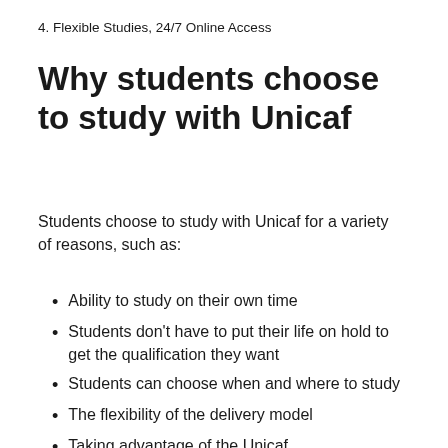4. Flexible Studies, 24/7 Online Access
Why students choose to study with Unicaf
Students choose to study with Unicaf for a variety of reasons, such as:
Ability to study on their own time
Students don't have to put their life on hold to get the qualification they want
Students can choose when and where to study
The flexibility of the delivery model
Taking advantage of the Unicaf